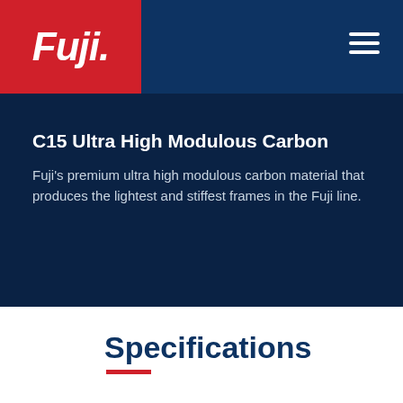Fuji. [logo] [hamburger menu]
C15 Ultra High Modulous Carbon
Fuji's premium ultra high modulous carbon material that produces the lightest and stiffest frames in the Fuji line.
Specifications